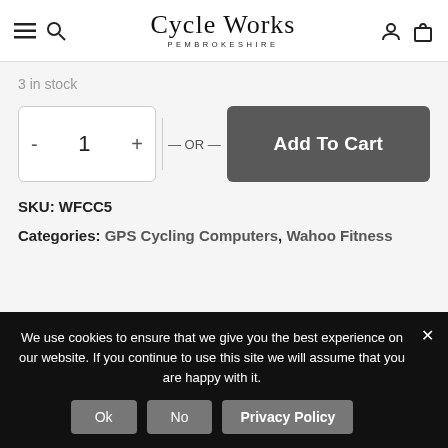Cycle Works Pembrokeshire
3 in stock
[Figure (screenshot): Quantity selector showing minus button, 1, plus button, OR separator, and Add To Cart dark grey button]
SKU: WFCC5
Categories: GPS Cycling Computers, Wahoo Fitness
We use cookies to ensure that we give you the best experience on our website. If you continue to use this site we will assume that you are happy with it.